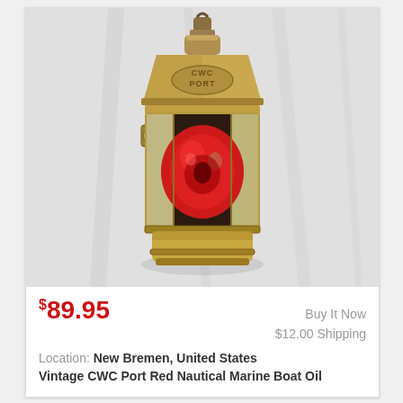[Figure (photo): Vintage CWC brass port navigation lantern with red glass lens, photographed against a white fabric background. The lantern has a conical brass top with a hanging hook, embossed PORT label, and a cylindrical body with red glass windows.]
$89.95
Buy It Now
$12.00 Shipping
Location: New Bremen, United States
Vintage CWC Port Red Nautical Marine Boat Oil